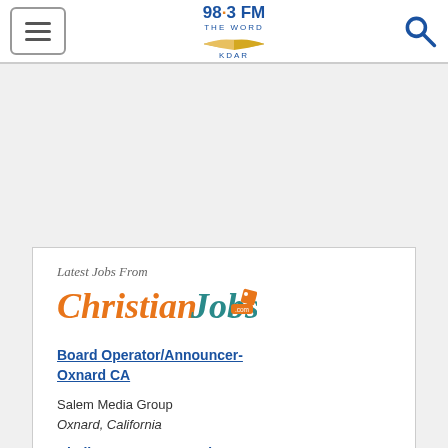98.3 FM THE WORD KDAR
[Figure (logo): 98.3 FM The Word KDAR radio station logo with open book graphic]
Latest Jobs From
[Figure (logo): ChristianJobs.com logo with orange 'Christian' and teal 'Jobs' text and tag icon]
Board Operator/Announcer-Oxnard CA
Salem Media Group
Oxnard, California
Challenge Course & Adventure